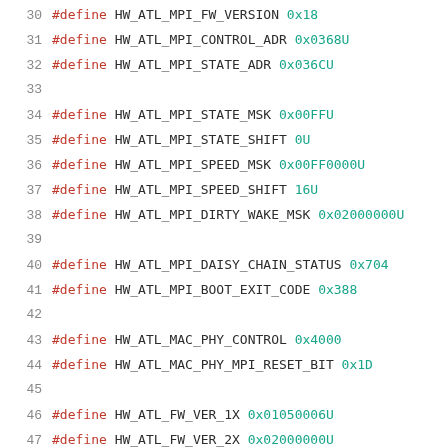30  #define HW_ATL_MPI_FW_VERSION    0x18
31  #define HW_ATL_MPI_CONTROL_ADR   0x0368U
32  #define HW_ATL_MPI_STATE_ADR     0x036CU
33
34  #define HW_ATL_MPI_STATE_MSK     0x00FFU
35  #define HW_ATL_MPI_STATE_SHIFT    0U
36  #define HW_ATL_MPI_SPEED_MSK     0x00FF0000U
37  #define HW_ATL_MPI_SPEED_SHIFT    16U
38  #define HW_ATL_MPI_DIRTY_WAKE_MSK 0x02000000U
39
40  #define HW_ATL_MPI_DAISY_CHAIN_STATUS  0x704
41  #define HW_ATL_MPI_BOOT_EXIT_CODE      0x388
42
43  #define HW_ATL_MAC_PHY_CONTROL     0x4000
44  #define HW_ATL_MAC_PHY_MPI_RESET_BIT 0x1D
45
46  #define HW_ATL_FW_VER_1X 0x01050006U
47  #define HW_ATL_FW_VER_2X 0x02000000U
48  #define HW_ATL_FW_VER_3X 0x03000000U
49  #define HW_ATL_FW_VER_4X 0x04000000U
50
51  #define FORCE_FLASHLESS 0